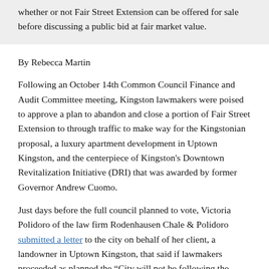whether or not Fair Street Extension can be offered for sale before discussing a public bid at fair market value.
By Rebecca Martin
Following an October 14th Common Council Finance and Audit Committee meeting, Kingston lawmakers were poised to approve a plan to abandon and close a portion of Fair Street Extension to through traffic to make way for the Kingstonian proposal, a luxury apartment development in Uptown Kingston, and the centerpiece of Kingston's Downtown Revitalization Initiative (DRI) that was awarded by former Governor Andrew Cuomo.
Just days before the full council planned to vote, Victoria Polidoro of the law firm Rodenhausen Chale & Polidoro submitted a letter to the city on behalf of her client, a landowner in Uptown Kingston, that said if lawmakers proceeded as planned the “City will not be following the requisite procedure for the closing of a public street and subsequent conveyance of an interest in the former street bed”. That procedure included a